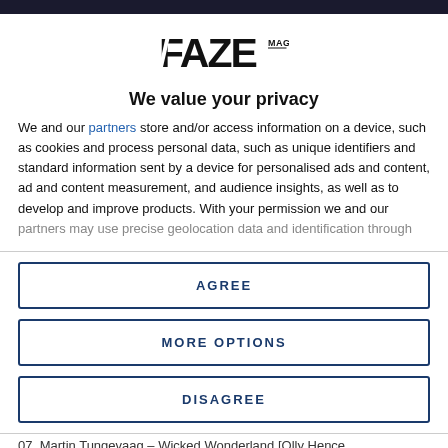[Figure (logo): FAZE MAG logo in bold stylized black letters]
We value your privacy
We and our partners store and/or access information on a device, such as cookies and process personal data, such as unique identifiers and standard information sent by a device for personalised ads and content, ad and content measurement, and audience insights, as well as to develop and improve products. With your permission we and our partners may use precise geolocation data and identification through
AGREE
MORE OPTIONS
DISAGREE
07. Martin Tungevaag – Wicked Wonderland [Olly Hence